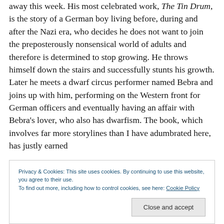away this week. His most celebrated work, The Tin Drum, is the story of a German boy living before, during and after the Nazi era, who decides he does not want to join the preposterously nonsensical world of adults and therefore is determined to stop growing. He throws himself down the stairs and successfully stunts his growth. Later he meets a dwarf circus performer named Bebra and joins up with him, performing on the Western front for German officers and eventually having an affair with Bebra's lover, who also has dwarfism. The book, which involves far more storylines than I have adumbrated here, has justly earned
Privacy & Cookies: This site uses cookies. By continuing to use this website, you agree to their use.
To find out more, including how to control cookies, see here: Cookie Policy
Close and accept